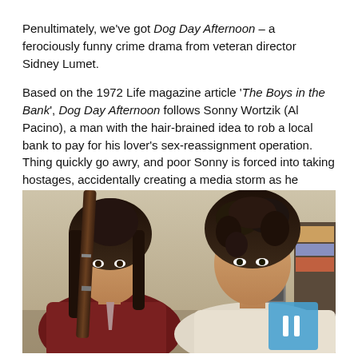Penultimately, we've got Dog Day Afternoon – a ferociously funny crime drama from veteran director Sidney Lumet.
Based on the 1972 Life magazine article 'The Boys in the Bank', Dog Day Afternoon follows Sonny Wortzik (Al Pacino), a man with the hair-brained idea to rob a local bank to pay for his lover's sex-reassignment operation. Thing quickly go awry, and poor Sonny is forced into taking hostages, accidentally creating a media storm as he negotiates his escape with the feds.
[Figure (photo): Movie still from Dog Day Afternoon showing two men facing each other. The man on the left has long dark hair and holds a rifle, wearing a dark red jacket. The man on the right has curly dark hair and wears a light-colored top. Picture frames are visible on the wall in the background. A blue button/overlay is visible in the lower right of the image.]